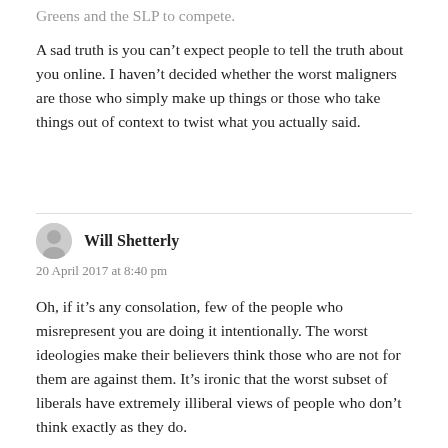Greens and the SLP to compete.
A sad truth is you can’t expect people to tell the truth about you online. I haven’t decided whether the worst maligners are those who simply make up things or those who take things out of context to twist what you actually said.
Will Shetterly
20 April 2017 at 8:40 pm
Oh, if it’s any consolation, few of the people who misrepresent you are doing it intentionally. The worst ideologies make their believers think those who are not for them are against them. It’s ironic that the worst subset of liberals have extremely illiberal views of people who don’t think exactly as they do.